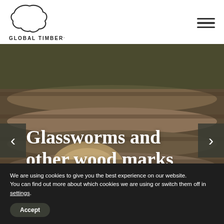[Figure (logo): Global Timber logo: organic blob/cloud outline shape above the text GLOBAL TIMBER.]
[Figure (photo): Photograph of large felled timber logs stacked in a forest setting with green vegetation visible. Navigation arrows (< >) on left and right sides. Overlay title reads 'Glassworms and other wood marks'.]
Glassworms and other wood marks
We are using cookies to give you the best experience on our website.
You can find out more about which cookies we are using or switch them off in settings.
Accept